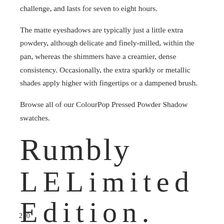challenge, and lasts for seven to eight hours.
The matte eyeshadows are typically just a little extra powdery, although delicate and finely-milled, within the pan, whereas the shimmers have a creamier, dense consistency. Occasionally, the extra sparkly or metallic shades apply higher with fingertips or a dampened brush.
Browse all of our ColourPop Pressed Powder Shadow swatches.
Rumbly LELimited Edition. $4.50.
20